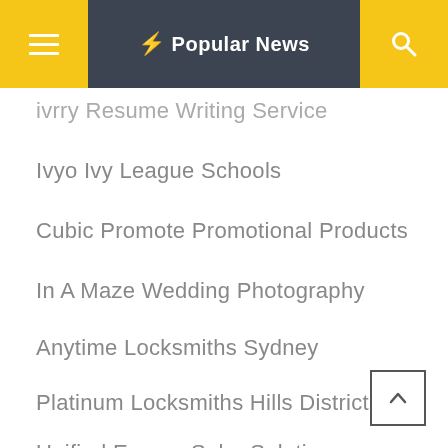Popular News
ivrry Resume Writing Service
Ivyo Ivy League Schools
Cubic Promote Promotional Products
In A Maze Wedding Photography
Anytime Locksmiths Sydney
Platinum Locksmiths Hills District
Unified Energy Solar Solutions